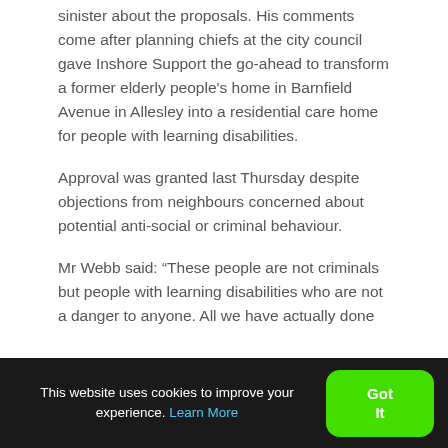sinister about the proposals. His comments come after planning chiefs at the city council gave Inshore Support the go-ahead to transform a former elderly people's home in Barnfield Avenue in Allesley into a residential care home for people with learning disabilities.
Approval was granted last Thursday despite objections from neighbours concerned about potential anti-social or criminal behaviour.
Mr Webb said: “These people are not criminals but people with learning disabilities who are not a danger to anyone. All we have actually done
This website uses cookies to improve your experience. Learn More
Got It